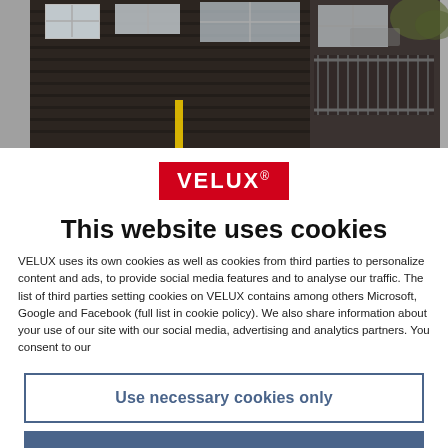[Figure (photo): Photo of dark timber-clad modern building facade with windows and balcony railing]
[Figure (logo): VELUX logo — white bold text on red background with registered trademark symbol]
This website uses cookies
VELUX uses its own cookies as well as cookies from third parties to personalize content and ads, to provide social media features and to analyse our traffic. The list of third parties setting cookies on VELUX contains among others Microsoft, Google and Facebook (full list in cookie policy). We also share information about your use of our site with our social media, advertising and analytics partners. You consent to our
Use necessary cookies only
Allow all cookies
Show details